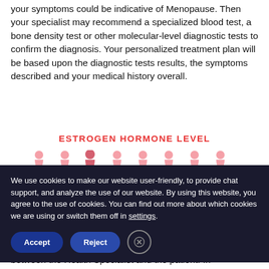your symptoms could be indicative of Menopause. Then your specialist may recommend a specialized blood test, a bone density test or other molecular-level diagnostic tests to confirm the diagnosis. Your personalized treatment plan will be based upon the diagnostic tests results, the symptoms described and your medical history overall.
ESTROGEN HORMONE LEVEL
[Figure (infographic): A row of 8 pink/rose female body silhouette icons of varying sizes representing estrogen hormone levels]
We use cookies to make our website user-friendly, to provide chat support, and analyze the use of our website. By using this website, you agree to the use of cookies. You can find out more about which cookies we are using or switch them off in settings.
between the Health Specialist and the patient. In